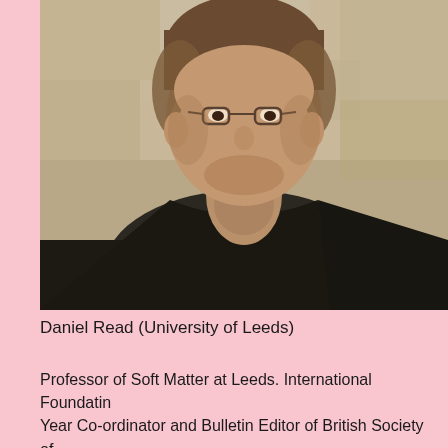[Figure (photo): Portrait photo of Daniel Read, a man wearing a dark sweater over a light blue collar shirt, photographed outdoors against a stone wall background.]
Daniel Read (University of Leeds)
Professor of Soft Matter at Leeds. International Foundatin Year Co-ordinator and Bulletin Editor of British Society of Rheology.